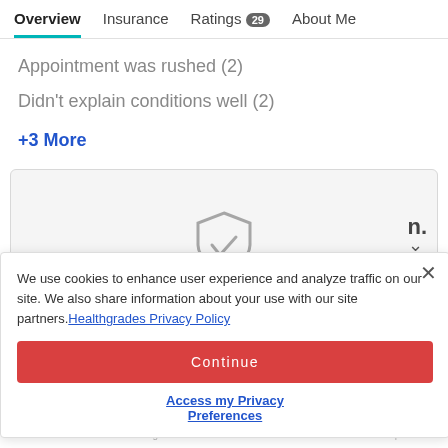Overview | Insurance | Ratings 29 | About Me
Appointment was rushed (2)
Didn't explain conditions well (2)
+3 More
[Figure (illustration): Shield with checkmark icon inside a light grey card, with a collapse/expand chevron on the right side]
We use cookies to enhance user experience and analyze traffic on our site. We also share information about your use with our site partners. Healthgrades Privacy Policy
Continue
Access my Privacy Preferences